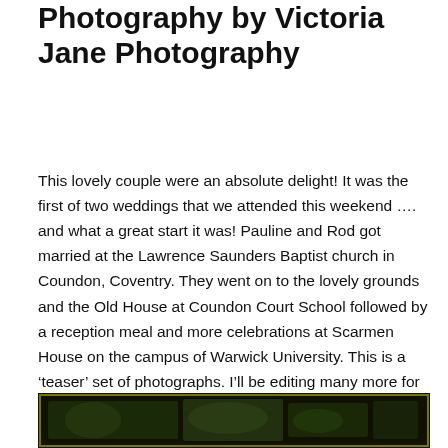Photography by Victoria Jane Photography
This lovely couple were an absolute delight! It was the first of two weddings that we attended this weekend …. and what a great start it was! Pauline and Rod got married at the Lawrence Saunders Baptist church in Coundon, Coventry. They went on to the lovely grounds and the Old House at Coundon Court School followed by a reception meal and more celebrations at Scarmen House on the campus of Warwick University. This is a ‘teaser’ set of photographs. I’ll be editing many more for Pauline and Rod to view on my main website when they get back from their honeymoon. For now ……….
[Figure (photo): Bottom portion of a dark photograph, partially visible at the bottom of the page, showing a dark background with some greenish tones.]